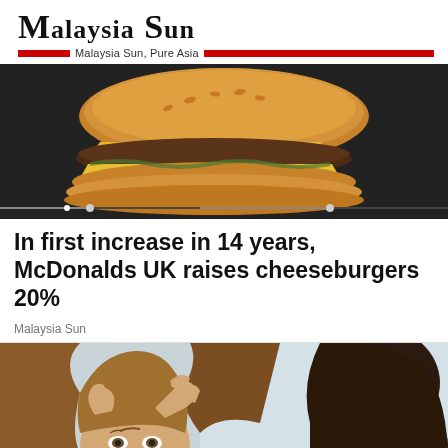Malaysia Sun — Malaysia Sun, Pure Asia
[Figure (photo): McDonald's double cheeseburger with yellow cheese slices, sesame bun, on a dark background with a video scrubber bar at the bottom]
In first increase in 14 years, McDonalds UK raises cheeseburgers 20%
Malaysia Sun
[Figure (photo): Woman with furrowed brow gripping her hair with both hands, looking stressed or shocked, photographed in a bright indoor setting, reflection or second person visible on right]